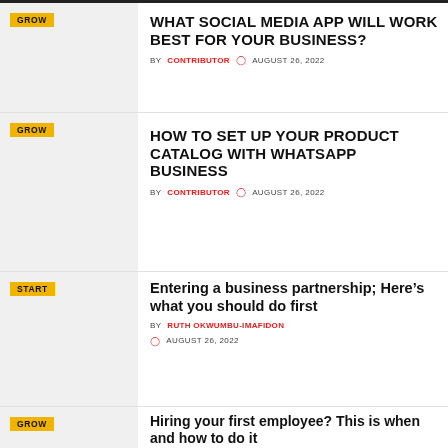[Figure (other): Thumbnail image placeholder for article 1 with GROW badge]
WHAT SOCIAL MEDIA APP WILL WORK BEST FOR YOUR BUSINESS?
BY CONTRIBUTOR  AUGUST 26, 2022
[Figure (other): Thumbnail image placeholder for article 2 with GROW badge]
HOW TO SET UP YOUR PRODUCT CATALOG WITH WHATSAPP BUSINESS
BY CONTRIBUTOR  AUGUST 26, 2022
[Figure (other): Thumbnail image placeholder for article 3 with START badge]
Entering a business partnership; Here’s what you should do first
BY RUTH OKWUMBU-IMAFIDON  AUGUST 26, 2022
[Figure (other): Thumbnail image placeholder for article 4 with GROW badge]
Hiring your first employee? This is when and how to do it